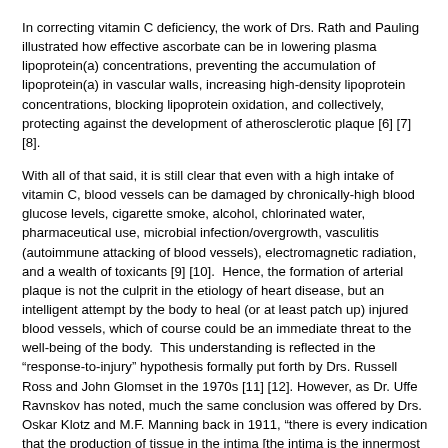In correcting vitamin C deficiency, the work of Drs. Rath and Pauling illustrated how effective ascorbate can be in lowering plasma lipoprotein(a) concentrations, preventing the accumulation of lipoprotein(a) in vascular walls, increasing high-density lipoprotein concentrations, blocking lipoprotein oxidation, and collectively, protecting against the development of atherosclerotic plaque [6] [7] [8].
With all of that said, it is still clear that even with a high intake of vitamin C, blood vessels can be damaged by chronically-high blood glucose levels, cigarette smoke, alcohol, chlorinated water, pharmaceutical use, microbial infection/overgrowth, vasculitis (autoimmune attacking of blood vessels), electromagnetic radiation, and a wealth of toxicants [9] [10].  Hence, the formation of arterial plaque is not the culprit in the etiology of heart disease, but an intelligent attempt by the body to heal (or at least patch up) injured blood vessels, which of course could be an immediate threat to the well-being of the body.  This understanding is reflected in the “response-to-injury” hypothesis formally put forth by Drs. Russell Ross and John Glomset in the 1970s [11] [12]. However, as Dr. Uffe Ravnskov has noted, much the same conclusion was offered by Drs. Oskar Klotz and M.F. Manning back in 1911, “there is every indication that the production of tissue in the intima [the intima is the innermost layer of a blood vessel] is the result of a direct irritation of that tissue by the presence of infection or toxins or the stimulation by the products of a primary degeneration in that layer” [13] [14].